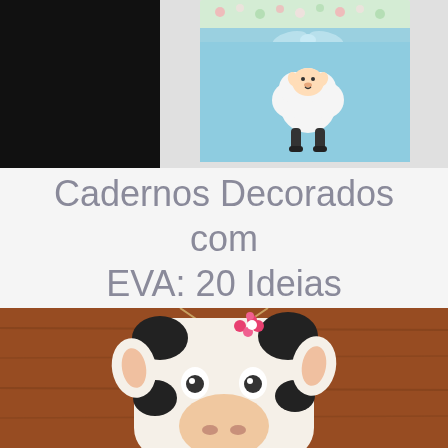[Figure (photo): Photo of a light blue notebook decorated with EVA foam, featuring a cute white sheep/lamb figure on the cover and a floral fabric trim at the top with a ribbon bow. Left portion of image is black.]
Cadernos Decorados com EVA: 20 Ideias
[Figure (photo): Photo of a decorative EVA foam cow figure hanging ornament with black and white spots, pink flowers on its head, against a wooden background. Partially visible, cropped at bottom.]